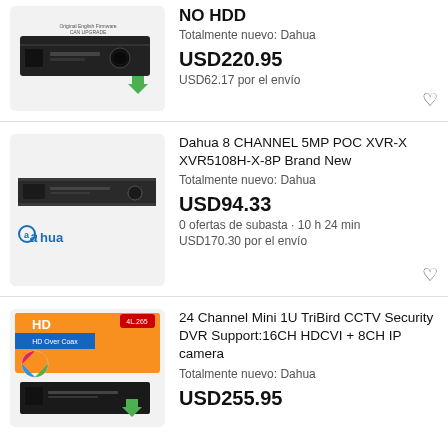[Figure (photo): Photo of Dahua DVR device (black box recorder), partially visible, first listing]
NO HDD
Totalmente nuevo: Dahua
USD220.95
USD62.17 por el envío
[Figure (photo): Photo of Dahua 8 channel XVR recorder device (slim black unit) with Dahua logo below]
Dahua 8 CHANNEL 5MP POC XVR-X XVR5108H-X-8P Brand New
Totalmente nuevo: Dahua
USD94.33
0 ofertas de subasta · 10 h 24 min
USD170.30 por el envío
[Figure (photo): Photo of 24 Channel Mini 1U TriBird CCTV Security DVR product box/unit with HD Over Coax branding]
24 Channel Mini 1U TriBird CCTV Security DVR Support:16CH HDCVI + 8CH IP camera
Totalmente nuevo: Dahua
USD255.95